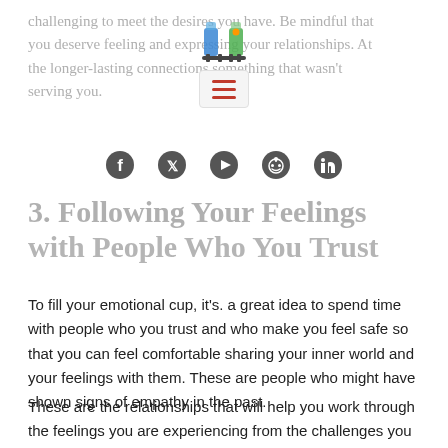challenging to meet the desires you have. Be mindful that you deserve feeling and expressing your relationships. At the longer-lasting connections something that wasn't serving you.
[Figure (logo): Website logo icon showing two bottles/containers, colorful, with text below]
[Figure (other): Hamburger menu icon with three red horizontal lines on a light gray box]
[Figure (other): Social media icons row: Facebook, Twitter, YouTube, Reddit, LinkedIn]
3. Following Your Feelings with People Who You Trust
To fill your emotional cup, it’s. a great idea to spend time with people who you trust and who make you feel safe so that you can feel comfortable sharing your inner world and your feelings with them. These are people who might have shown signs of empathy in the past.
These are the relationships that will help you work through the feelings you are experiencing from the challenges you are having from the person who isn’t showing empathy.